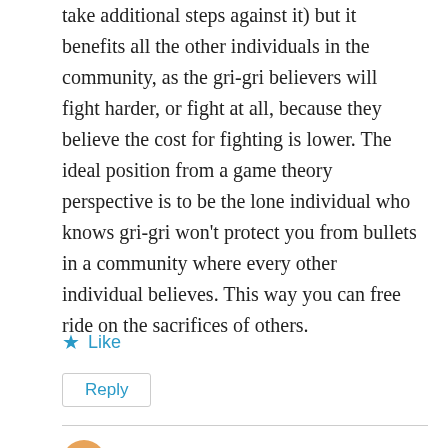take additional steps against it) but it benefits all the other individuals in the community, as the gri-gri believers will fight harder, or fight at all, because they believe the cost for fighting is lower. The ideal position from a game theory perspective is to be the lone individual who knows gri-gri won't protect you from bullets in a community where every other individual believes. This way you can free ride on the sacrifices of others.
★ Like
Reply
8689696
June 19, 2017 at 8:33 pm